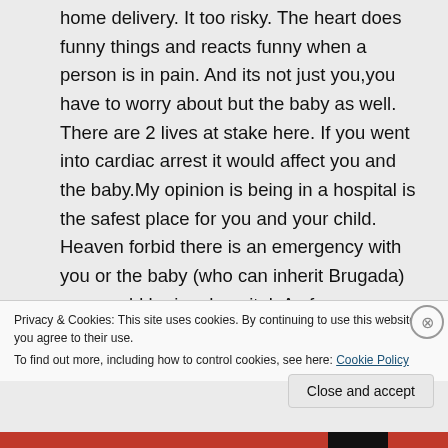home delivery. It too risky. The heart does funny things and reacts funny when a person is in pain. And its not just you,you have to worry about but the baby as well. There are 2 lives at stake here. If you went into cardiac arrest it would affect you and the baby.My opinion is being in a hospital is the safest place for you and your child. Heaven forbid there is an emergency with you or the baby (who can inherit Brugada) you would be in a hospital. As far as a
Privacy & Cookies: This site uses cookies. By continuing to use this website, you agree to their use.
To find out more, including how to control cookies, see here: Cookie Policy
Close and accept